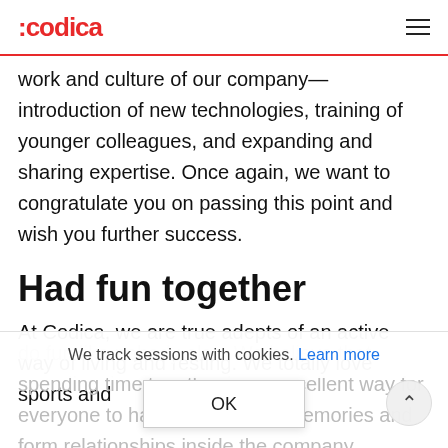:codica
work and culture of our company—introduction of new technologies, training of younger colleagues, and expanding and sharing expertise. Once again, we want to congratulate you on passing this point and wish you further success.
Had fun together
At Codica, we are true adepts of an active way of living and resting. We totally love sports and do fun like nobody else. We believe that spending time together is an excellent way for everyone to have lots of good memories and form relationships inside the company.